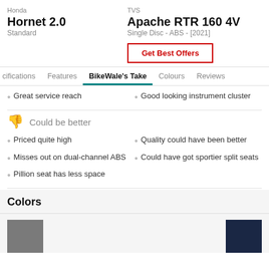Honda Hornet 2.0 Standard
TVS Apache RTR 160 4V Single Disc - ABS - [2021]
Get Best Offers
BikeWale's Take
Great service reach
Good looking instrument cluster
Could be better
Priced quite high
Quality could have been better
Misses out on dual-channel ABS
Could have got sportier split seats
Pillion seat has less space
Colors